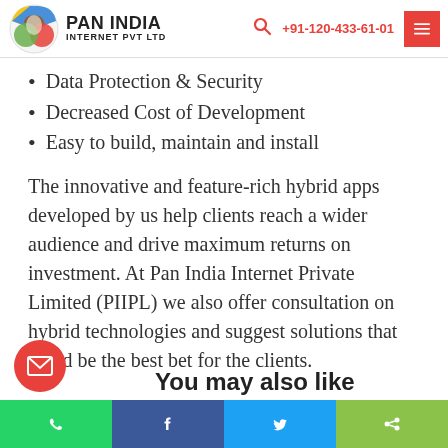PAN INDIA INTERNET PVT LTD | +91-120-433-61-01
Data Protection & Security
Decreased Cost of Development
Easy to build, maintain and install
The innovative and feature-rich hybrid apps developed by us help clients reach a wider audience and drive maximum returns on investment. At Pan India Internet Private Limited (PIIPL) we also offer consultation on hybrid technologies and suggest solutions that could be the best bet for the clients.
You may also like